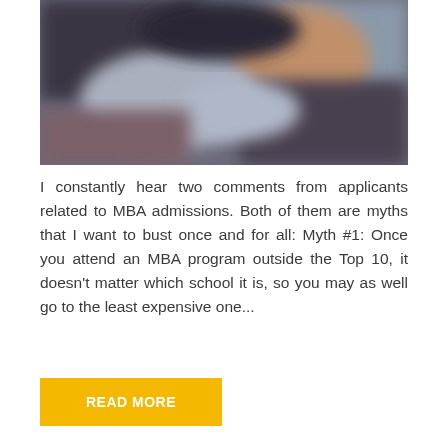[Figure (photo): Blurred photo showing a person in a dark and muted background, abstract/out-of-focus image related to MBA admissions context]
I constantly hear two comments from applicants related to MBA admissions. Both of them are myths that I want to bust once and for all: Myth #1: Once you attend an MBA program outside the Top 10, it doesn't matter which school it is, so you may as well go to the least expensive one...
READ MORE